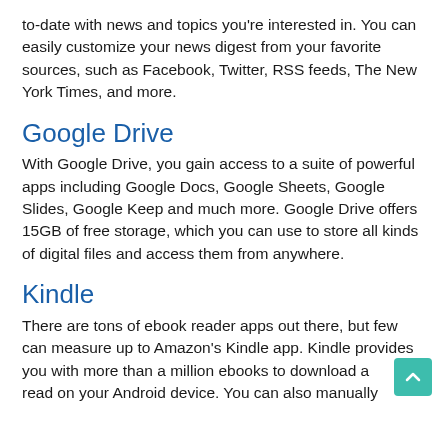to-date with news and topics you're interested in. You can easily customize your news digest from your favorite sources, such as Facebook, Twitter, RSS feeds, The New York Times, and more.
Google Drive
With Google Drive, you gain access to a suite of powerful apps including Google Docs, Google Sheets, Google Slides, Google Keep and much more. Google Drive offers 15GB of free storage, which you can use to store all kinds of digital files and access them from anywhere.
Kindle
There are tons of ebook reader apps out there, but few can measure up to Amazon's Kindle app. Kindle provides you with more than a million ebooks to download and read on your Android device. You can also manually